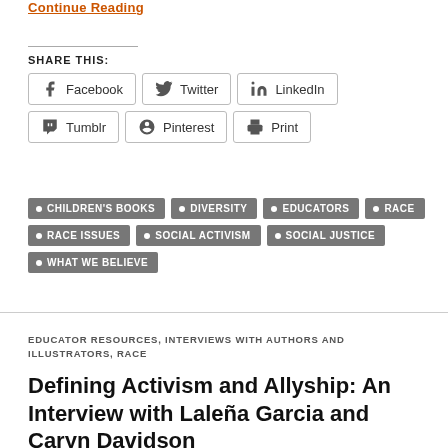Continue Reading
SHARE THIS:
Facebook
Twitter
LinkedIn
Tumblr
Pinterest
Print
CHILDREN'S BOOKS
DIVERSITY
EDUCATORS
RACE
RACE ISSUES
SOCIAL ACTIVISM
SOCIAL JUSTICE
WHAT WE BELIEVE
EDUCATOR RESOURCES, INTERVIEWS WITH AUTHORS AND ILLUSTRATORS, RACE
Defining Activism and Allyship: An Interview with Laleña Garcia and Caryn Davidson